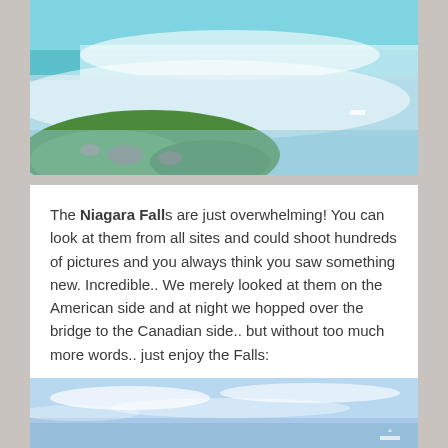[Figure (photo): Aerial/close-up view of Niagara Falls with turquoise rushing water cascading over the edge, mist below, green grassy rocky outcrop in the foreground, and a small boat visible in the distance on the misty water.]
The Niagara Falls are just overwhelming! You can look at them from all sites and could shoot hundreds of pictures and you always think you saw something new. Incredible.. We merely looked at them on the American side and at night we hopped over the bridge to the Canadian side.. but without too much more words.. just enjoy the Falls:
[Figure (photo): Wide sky view with blue sky and light clouds, partial view of Niagara Falls area from a distance, with the bottom of the image cropped.]